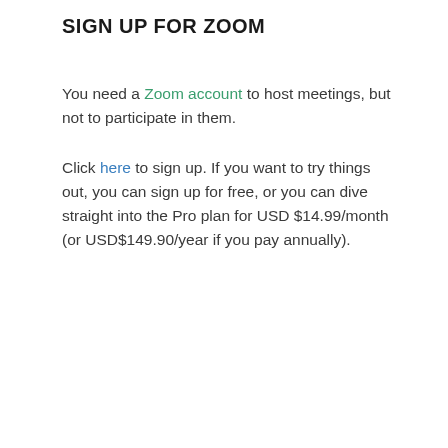SIGN UP FOR ZOOM
You need a Zoom account to host meetings, but not to participate in them.
Click here to sign up. If you want to try things out, you can sign up for free, or you can dive straight into the Pro plan for USD $14.99/month (or USD$149.90/year if you pay annually).